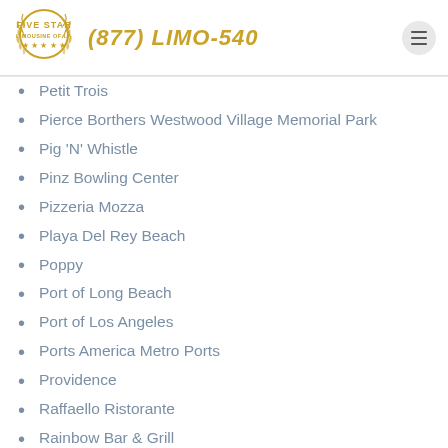Five Star Limousine of LA | (877) LIMO-540
Petit Trois
Pierce Borthers Westwood Village Memorial Park
Pig 'N' Whistle
Pinz Bowling Center
Pizzeria Mozza
Playa Del Rey Beach
Poppy
Port of Long Beach
Port of Los Angeles
Ports America Metro Ports
Providence
Raffaello Ristorante
Rainbow Bar & Grill
Rancho Baseball LLC
Redbird
REmixx Night Club
Renaissance Los Angeles Airport Hotel
Republique